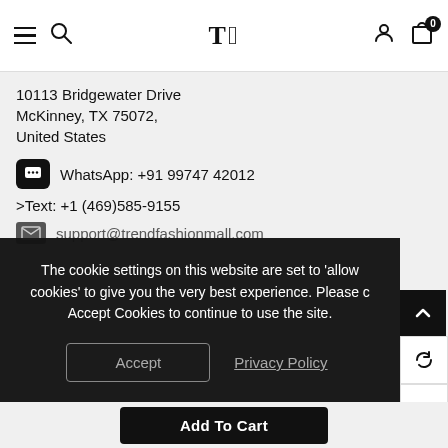[Figure (screenshot): Website navigation bar with hamburger menu, search icon, TF logo, user icon, and cart with 0 badge]
10113 Bridgewater Drive
McKinney, TX 75072,
United States
WhatsApp: +91 99747 42012
>Text: +1 (469)585-9155
support@trendfashionmall.com
The cookie settings on this website are set to 'allow cookies' to give you the very best experience. Please Accept Cookies to continue to use the site.
Accept
Privacy Policy
Add To Cart